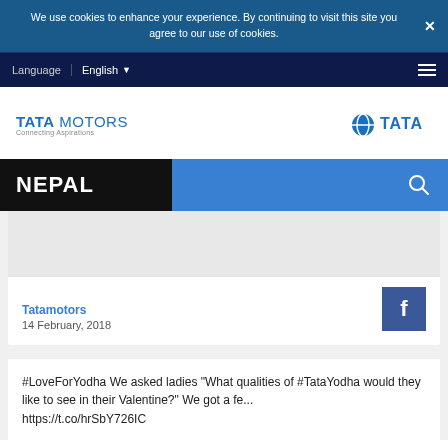We use cookies to enhance your experience. By continuing to visit this site you agree to our use of cookies.
Language  English
[Figure (logo): Tata Motors logo with 'Connecting Aspirations' tagline on left; Tata globe logo on right]
NEPAL
Tatamotors
14 February, 2018
#LoveForYodha We asked ladies "What qualities of #TataYodha would they like to see in their Valentine?" We got a fe... https://t.co/hrSbY726IC